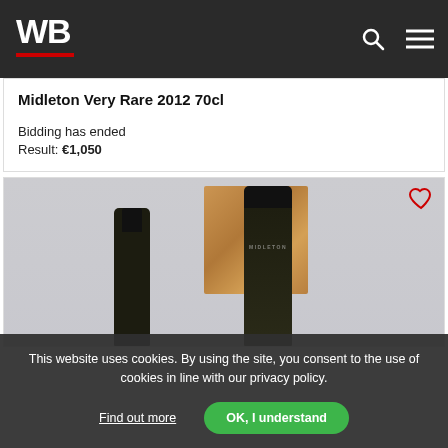WB
Midleton Very Rare 2012 70cl
Bidding has ended
Result: €1,050
[Figure (photo): Product photo showing Midleton Very Rare whiskey bottle with dark label and wooden presentation box, alongside another dark bottle]
This website uses cookies. By using the site, you consent to the use of cookies in line with our privacy policy.